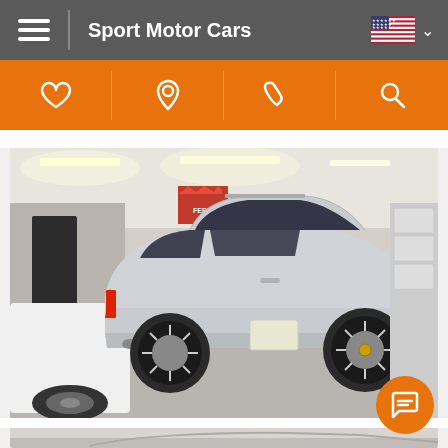Sport Motor Cars
[Figure (screenshot): Orange navigation icon bar with heart (favorites), map pin (location), phone, and search icons on orange background]
[Figure (photo): Silver Porsche Cayenne SUV photographed from rear three-quarter angle inside a car dealership garage. A Ferrari banner is visible on the wall in the background. Another white car is partially visible on the left.]
[Figure (photo): Partial view of a second car photo at the bottom of the page, showing the roof/top edge of a vehicle inside a garage.]